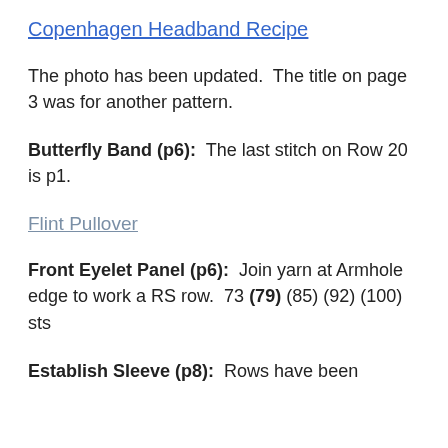Copenhagen Headband Recipe
The photo has been updated.  The title on page 3 was for another pattern.
Butterfly Band (p6):  The last stitch on Row 20 is p1.
Flint Pullover
Front Eyelet Panel (p6):  Join yarn at Armhole edge to work a RS row.  73 (79) (85) (92) (100) sts
Establish Sleeve (p8):  Rows have been